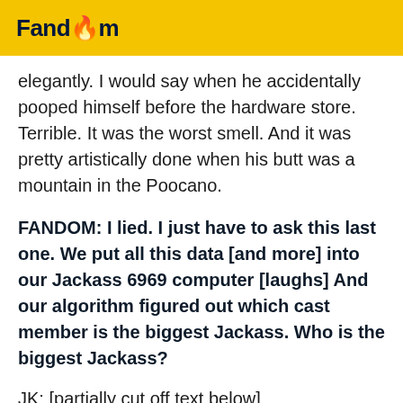Fandom
elegantly. I would say when he accidentally pooped himself before the hardware store. Terrible. It was the worst smell. And it was pretty artistically done when his butt was a mountain in the Poocano.
FANDOM: I lied. I just have to ask this last one. We put all this data [and more] into our Jackass 6969 computer [laughs] And our algorithm figured out which cast member is the biggest Jackass. Who is the biggest Jackass?
JK: [partial, cut off]